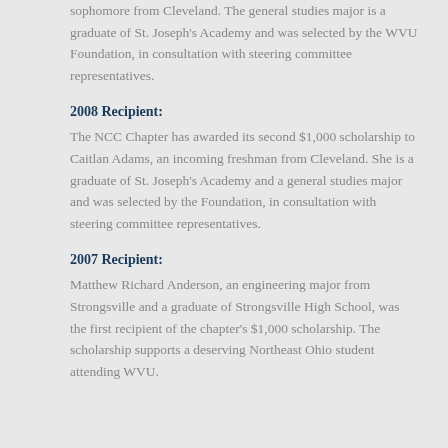sophomore from Cleveland. The general studies major is a graduate of St. Joseph's Academy and was selected by the WVU Foundation, in consultation with steering committee representatives.
2008 Recipient:
The NCC Chapter has awarded its second $1,000 scholarship to Caitlan Adams, an incoming freshman from Cleveland. She is a graduate of St. Joseph's Academy and a general studies major and was selected by the Foundation, in consultation with steering committee representatives.
2007 Recipient:
Matthew Richard Anderson, an engineering major from Strongsville and a graduate of Strongsville High School, was the first recipient of the chapter's $1,000 scholarship. The scholarship supports a deserving Northeast Ohio student attending WVU.